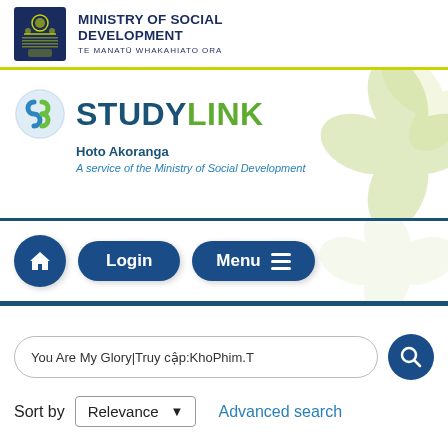[Figure (logo): Ministry of Social Development crest and name logo with Te Manatū Whakahiato Ora tagline]
[Figure (logo): StudyLink Hoto Akoranga logo with decorative green flower petal design and tagline 'A service of the Ministry of Social Development']
[Figure (screenshot): Navigation bar with Home button (house icon), Login button, and Menu button with hamburger icon]
You Are My Glory|Truy cập:KhoPhim.T
Sort by  Relevance ▼   Advanced search